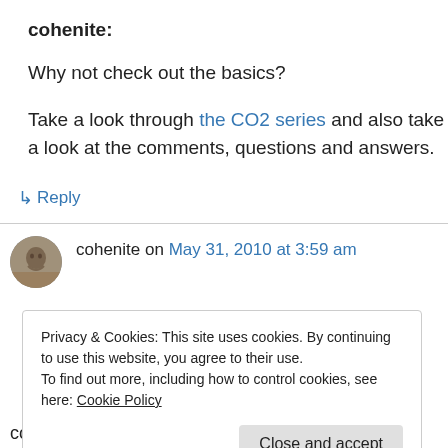cohenite:
Why not check out the basics?
Take a look through the CO2 series and also take a look at the comments, questions and answers.
↳ Reply
cohenite on May 31, 2010 at 3:59 am
Privacy & Cookies: This site uses cookies. By continuing to use this website, you agree to their use.
To find out more, including how to control cookies, see here: Cookie Policy
Close and accept
comment at part 3 of your excellent series on